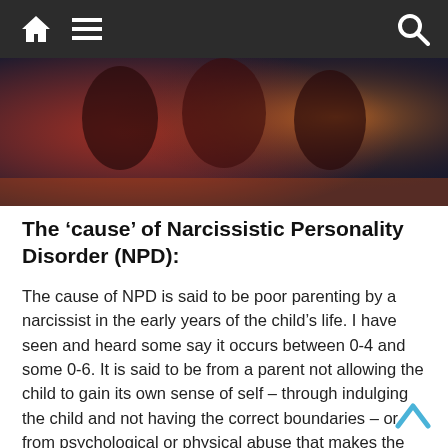Navigation bar with home, menu, and search icons
[Figure (photo): Dark stylized image showing figures with dramatic red and orange lighting, appearing to be a hero/banner image for an article about narcissistic personality disorder]
The 'cause' of Narcissistic Personality Disorder (NPD):
The cause of NPD is said to be poor parenting by a narcissist in the early years of the child's life. I have seen and heard some say it occurs between 0-4 and some 0-6. It is said to be from a parent not allowing the child to gain its own sense of self – through indulging the child and not having the correct boundaries – or from psychological or physical abuse that makes the child feel inferior, not valued or traumatised. This apparently causes the child to develop this god like 'false self' and to repress all their empathy.